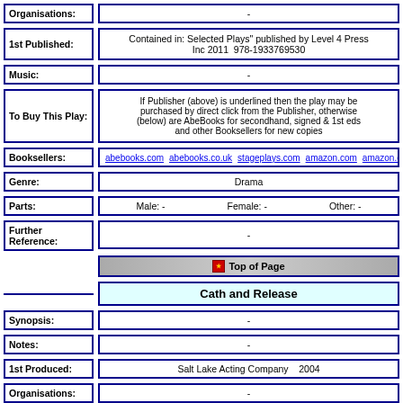| Field | Value |
| --- | --- |
| Organisations: | - |
| 1st Published: | Contained in: Selected Plays" published by Level 4 Press Inc 2011  978-1933769530 |
| Music: | - |
| To Buy This Play: | If Publisher (above) is underlined then the play may be purchased by direct click from the Publisher, otherwise (below) are AbeBooks for secondhand, signed & 1st eds and other Booksellers for new copies |
| Booksellers: | abebooks.com  abebooks.co.uk  stageplays.com  amazon.com  amazon.co.uk  am |
| Genre: | Drama |
| Parts: | Male: -   Female: -   Other: - |
| Further Reference: | - |
Top of Page
Cath and Release
| Field | Value |
| --- | --- |
| Synopsis: | - |
| Notes: | - |
| 1st Produced: | Salt Lake Acting Company    2004 |
| Organisations: | - |
| 1st Published: | - - |
| Music: | - |